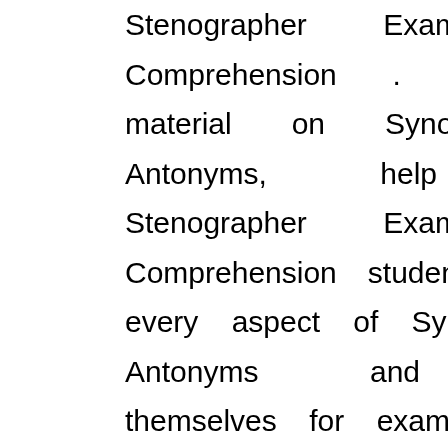Stenographer Exam English Comprehension . The study material on Synonyms and Antonyms, help SSC Stenographer Exam English Comprehension students to learn every aspect of Synonyms and Antonyms and prepare themselves for exams by doing online test exercise for Synonyms and Antonyms, as their study progresses in class. Kidsfront provide unique pattern of learning English Comprehension with free online comprehensive study material and loads of SSC Stenographer Exam English Comprehension Synonyms and Antonyms exercise prepared by the highly professionals team. Students can understand Synonyms and